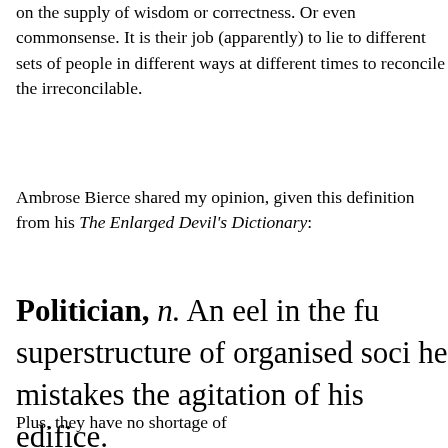on the supply of wisdom or correctness. Or even commonsense. It is their job (apparently) to lie to different sets of people in different ways at different times to reconcile the irreconcilable.
Ambrose Bierce shared my opinion, given this definition from his The Enlarged Devil's Dictionary:
Politician, n. An eel in the fu superstructure of organised soci he mistakes the agitation of his edifice.
Plus, they have no shortage of high-risk...